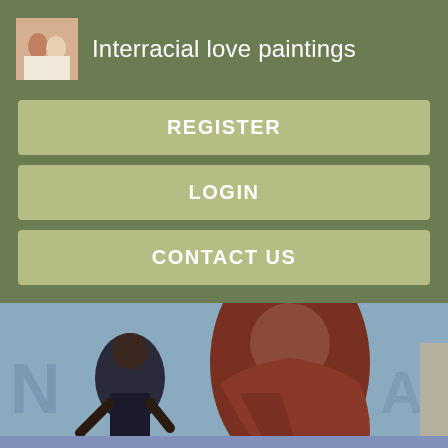Interracial love paintings
REGISTER
LOGIN
CONTACT US
[Figure (illustration): Digital illustration showing two figures, one wearing a large brown/maroon cloak or robe, with a darker figure visible in the background, appearing to be an anime/cartoon style artwork with a muted blue-grey background.]
Originally posted by kyarymell. Their relationship with one another grew stronger when they have spend some quality freetime together.